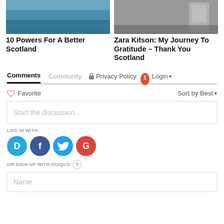[Figure (photo): Photo of a swimming pool with blue water and reflections, color image]
10 Powers For A Better Scotland
[Figure (photo): Black and white photo of a room interior with a door and furniture]
Zara Kitson: My Journey To Gratitude – Thank You Scotland
Comments   Community   Privacy Policy   1   Login
Favorite   Sort by Best
Start the discussion...
LOG IN WITH
[Figure (logo): Social login icons: Disqus (D), Facebook (F), Twitter bird, Google (G)]
OR SIGN UP WITH DISQUS ?
Name